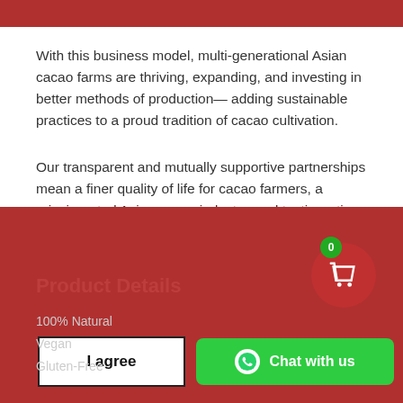With this business model, multi-generational Asian cacao farms are thriving, expanding, and investing in better methods of production— adding sustainable practices to a proud tradition of cacao cultivation.
Our transparent and mutually supportive partnerships mean a finer quality of life for cacao farmers, a reinvigorated Asian cacao industry, and tastier artisan chocolate for all of us.
Product Details
100% Natural
Vegan
Gluten-Free
We use cookies on our website to give you the best shopping experience. By using this site, you agree to its use of cookies.